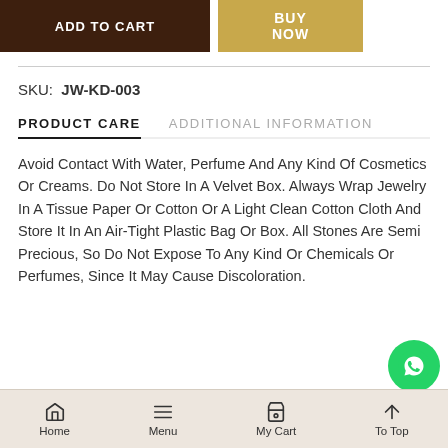[Figure (screenshot): Two buttons: dark brown ADD TO CART button and gold BUY NOW button]
SKU:  JW-KD-003
PRODUCT CARE
ADDITIONAL INFORMATION
Avoid Contact With Water, Perfume And Any Kind Of Cosmetics Or Creams. Do Not Store In A Velvet Box. Always Wrap Jewelry In A Tissue Paper Or Cotton Or A Light Clean Cotton Cloth And Store It In An Air-Tight Plastic Bag Or Box. All Stones Are Semi Precious, So Do Not Expose To Any Kind Or Chemicals Or Perfumes, Since It May Cause Discoloration.
Home   Menu   My Cart   To Top